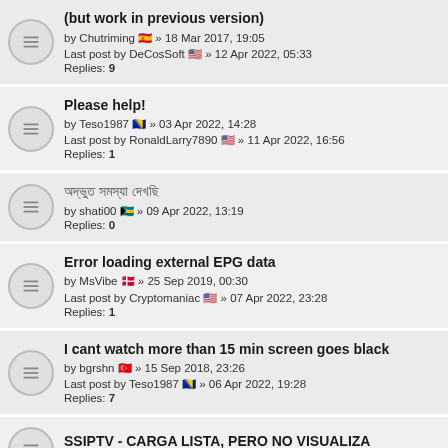(but work in previous version)
by Chutriming 🇪🇸 » 18 Mar 2017, 19:05
Last post by DeCosSoft 🇺🇸 » 12 Apr 2022, 05:33
Replies: 9
Please help!
by Teso1987 🇧🇦 » 03 Apr 2022, 14:28
Last post by RonaldLarry7890 🇺🇸 » 11 Apr 2022, 16:56
Replies: 1
অদ্ভুত সমস্যা দেখছি
by shati00 🇧🇸 » 09 Apr 2022, 13:19
Replies: 0
Error loading external EPG data
by MsVibe 🇩🇰 » 25 Sep 2019, 00:30
Last post by Cryptomaniac 🇺🇸 » 07 Apr 2022, 23:28
Replies: 1
I cant watch more than 15 min screen goes black
by bgrshn 🇹🇷 » 15 Sep 2018, 23:26
Last post by Teso1987 🇧🇦 » 06 Apr 2022, 19:28
Replies: 7
SSIPTV - CARGA LISTA, PERO NO VISUALIZA
by Soy Victor 🇪🇸 » 03 Apr 2022, 16:33